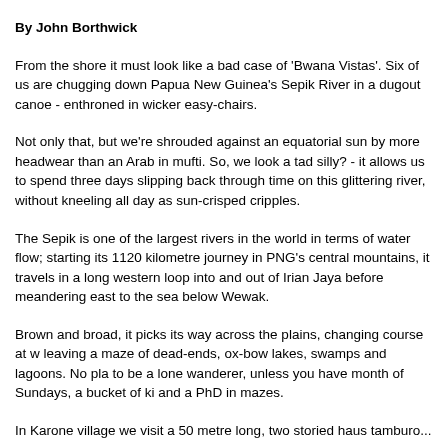By John Borthwick
From the shore it must look like a bad case of 'Bwana Vistas'. Six of us are chugging down Papua New Guinea's Sepik River in a dugout canoe - enthroned in wicker easy-chairs.
Not only that, but we're shrouded against an equatorial sun by more headwear than an Arab in mufti. So, we look a tad silly? - it allows us to spend three days slipping back through time on this glittering river, without kneeling all day as sun-crisped cripples.
The Sepik is one of the largest rivers in the world in terms of water flow; starting its 1120 kilometre journey in PNG's central mountains, it travels in a long western loop into and out of Irian Jaya before meandering east to the sea below Wewak.
Brown and broad, it picks its way across the plains, changing course at will, leaving a maze of dead-ends, ox-bow lakes, swamps and lagoons. No place to be a lone wanderer, unless you have month of Sundays, a bucket of ki and a PhD in mazes.
In Karone village we visit a 50 metre long, two storied haus tamburo...